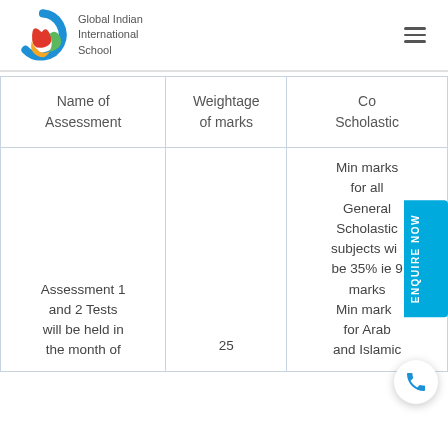Global Indian International School
| Name of Assessment | Weightage of marks | Co Scholastic |
| --- | --- | --- |
| Assessment 1 and 2 Tests will be held in the month of | 25 | Min marks for all General Scholastic subjects will be 35% ie 9 marks
Min marks for Arab and Islamic |